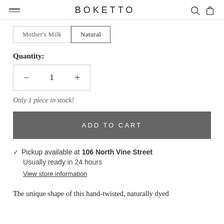BOKETTO
Mother's Milk  Natural
Quantity:
− 1 +
Only 1 piece in stock!
ADD TO CART
Pickup available at 106 North Vine Street
Usually ready in 24 hours
View store information
The unique shape of this hand-twisted, naturally dyed